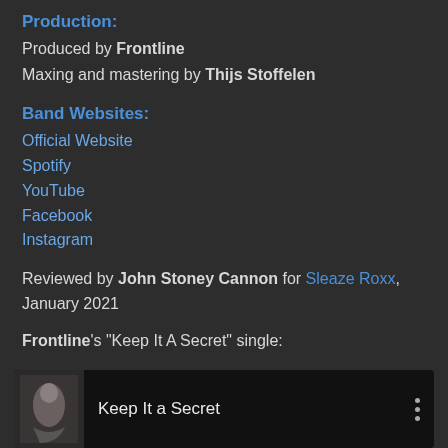Production:
Produced by Frontline
Maxing and mastering by Thijs Stoffelen
Band Websites:
Official Website
Spotify
YouTube
Facebook
Instagram
Reviewed by John Stoney Cannon for Sleaze Roxx, January 2021
Frontline's “Keep It A Secret” single:
[Figure (screenshot): Video thumbnail showing 'Keep It a Secret' with a small image and three-dot menu icon on dark background]